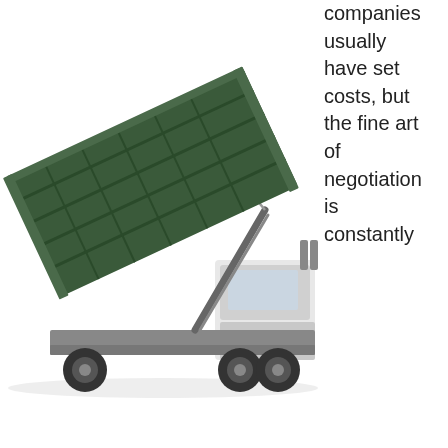[Figure (photo): A roll-off dumpster being unloaded from a large heavy-duty truck, shown from the side with the hydraulic arm raised.]
companies usually have set costs, but the fine art of negotiation is constantly in play. In case you would like to dicker on the cost, call around to other companies first so you understand what the going rental rate is. When you're talking to the business you need to utilize, simply mention other costs that are better than theirs. Some companies will not only match that lower price, they will really overcome it to suit their customers.
You can even ask about discounts when you're renting a dumpster in Smilax. Some companies will supply special discounts to active members of the military, veterans, seniors,